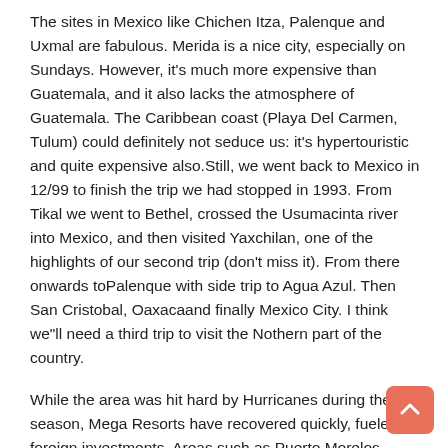The sites in Mexico like Chichen Itza, Palenque and Uxmal are fabulous. Merida is a nice city, especially on Sundays. However, it's much more expensive than Guatemala, and it also lacks the atmosphere of Guatemala. The Caribbean coast (Playa Del Carmen, Tulum) could definitely not seduce us: it's hypertouristic and quite expensive also.Still, we went back to Mexico in 12/99 to finish the trip we had stopped in 1993. From Tikal we went to Bethel, crossed the Usumacinta river into Mexico, and then visited Yaxchilan, one of the highlights of our second trip (don't miss it). From there onwards toPalenque with side trip to Agua Azul. Then San Cristobal, Oaxacaand finally Mexico City. I think we"ll need a third trip to visit the Nothern part of the country.
While the area was hit hard by Hurricanes during the last season, Mega Resorts have recovered quickly, fueled by foreign investments. Areas such as Puerto Morelos however did not recover as quickly. Little Hotels are still struggling to clean up and rebuild. Financial bankruptcy will only result in the inevitable, more Mega Resorts.
As an enthusiastic traveler, I do not feel well in all inclusive style